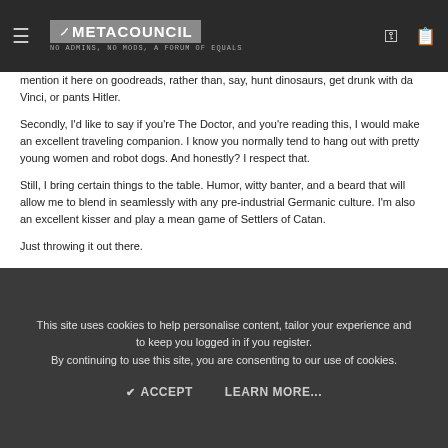METACOUNCIL — no admins, no mods, a forum of equals
mention it here on goodreads, rather than, say, hunt dinosaurs, get drunk with da Vinci, or pants Hitler.
Secondly, I'd like to say if you're The Doctor, and you're reading this, I would make an excellent traveling companion. I know you normally tend to hang out with pretty young women and robot dogs. And honestly? I respect that.
Still, I bring certain things to the table. Humor, witty banter, and a beard that will allow me to blend in seamlessly with any pre-industrial Germanic culture. I'm also an excellent kisser and play a mean game of Settlers of Catan.
Just throwing it out there.
Lastly, if any of you happen to have a digital copy of the book you'd like to e-mail me, I'd really appreciate it. I'd love to see the five-star version of the book, because right now, the one I'm toiling away at is about a three an a half-in my opinion. It would save me a lot of work if I could just skip to the end and publish it.
This site uses cookies to help personalise content, tailor your experience and to keep you logged in if you register. By continuing to use this site, you are consenting to our use of cookies.
ACCEPT    LEARN MORE...